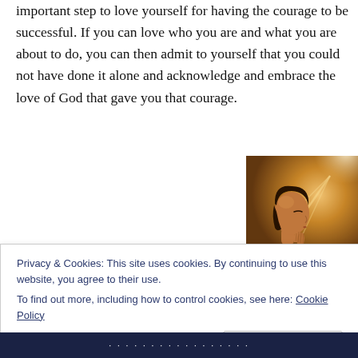important step to love yourself for having the courage to be successful. If you can love who you are and what you are about to do, you can then admit to yourself that you could not have done it alone and acknowledge and embrace the love of God that gave you that courage.
[Figure (photo): Woman with eyes closed, hands clasped in prayer, warm golden backlight]
Privacy & Cookies: This site uses cookies. By continuing to use this website, you agree to their use.
To find out more, including how to control cookies, see here: Cookie Policy